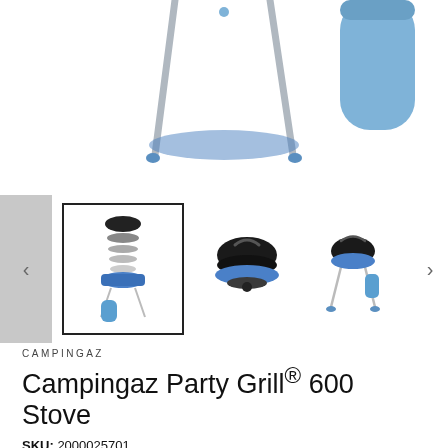[Figure (photo): Main product image showing Campingaz Party Grill 600 Stove with tripod legs and blue gas canister, viewed from top, partially cropped]
[Figure (photo): Three product thumbnail images: first (selected, bordered) shows exploded parts diagram of the grill; second shows front view of grill assembled in black; third shows full product with tripod stand and blue gas canister]
CAMPINGAZ
Campingaz Party Grill® 600 Stove
SKU: 2000025701
Barcode: 3138522088590
£195.90 GBP